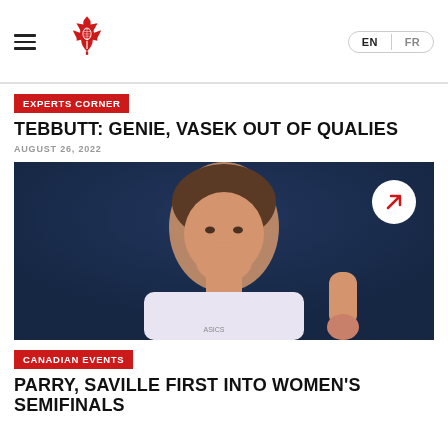Tennis Canada — Navigation bar with hamburger menu, maple leaf logo, EN/FR language toggle
EXPERTS CORNER
TEBBUTT: GENIE, VASEK OUT OF QUALIES
AUGUST 26, 2022
[Figure (photo): Close-up photo of a female tennis player in white and yellow ASICS outfit, dark blue background, focused expression, fist raised]
CANADIAN EVENTS
PARRY, SAVILLE FIRST INTO WOMEN'S SEMIFINALS